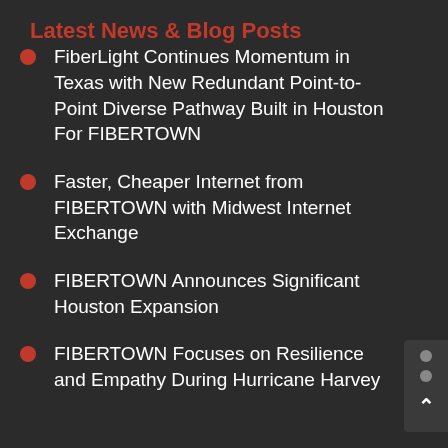Latest News & Blog Posts
FiberLight Continues Momentum in Texas with New Redundant Point-to-Point Diverse Pathway Built in Houston For FIBERTOWN
Faster, Cheaper Internet from FIBERTOWN with Midwest Internet Exchange
FIBERTOWN Announces Significant Houston Expansion
FIBERTOWN Focuses on Resilience and Empathy During Hurricane Harvey